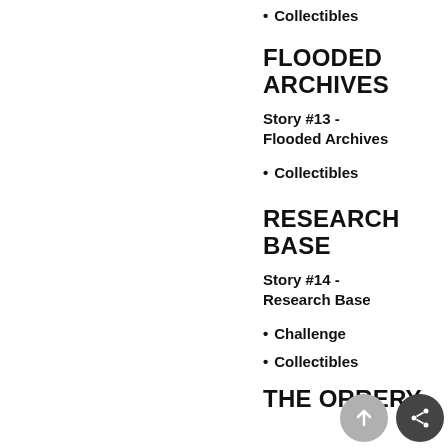Collectibles
FLOODED ARCHIVES
Story #13 - Flooded Archives
Collectibles
RESEARCH BASE
Story #14 - Research Base
Challenge
Collectibles
THE ORRERY